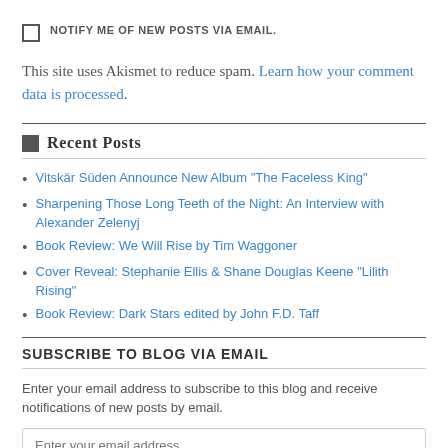NOTIFY ME OF NEW POSTS VIA EMAIL.
This site uses Akismet to reduce spam. Learn how your comment data is processed.
Recent Posts
Vitskär Süden Announce New Album “The Faceless King”
Sharpening Those Long Teeth of the Night: An Interview with Alexander Zelenyj
Book Review: We Will Rise by Tim Waggoner
Cover Reveal: Stephanie Ellis & Shane Douglas Keene “Lilith Rising”
Book Review: Dark Stars edited by John F.D. Taff
SUBSCRIBE TO BLOG VIA EMAIL
Enter your email address to subscribe to this blog and receive notifications of new posts by email.